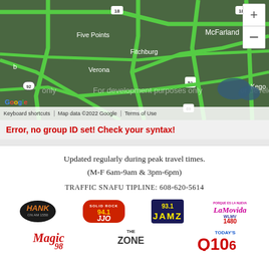[Figure (map): Google Maps screenshot showing roads around Fitchburg, Verona, McFarland, Five Points, and Kegoosa area in Wisconsin. Major roads shown in green. Watermark: 'For development purposes only'. Attribution: Map data ©2022 Google.]
Error, no group ID set! Check your syntax!
Updated regularly during peak travel times.

(M-F 6am-9am & 3pm-6pm)

TRAFFIC SNAFU TIPLINE: 608-620-5614
[Figure (logo): HANK on AM 1550 radio logo]
[Figure (logo): SOLID ROCK 94.1 JJO radio logo]
[Figure (logo): 93.1 JAMZ radio logo]
[Figure (logo): La Movida WLMV 1480 radio logo]
[Figure (logo): Magic 98 radio logo]
[Figure (logo): The Zone radio logo]
[Figure (logo): Today's Q106 radio logo]